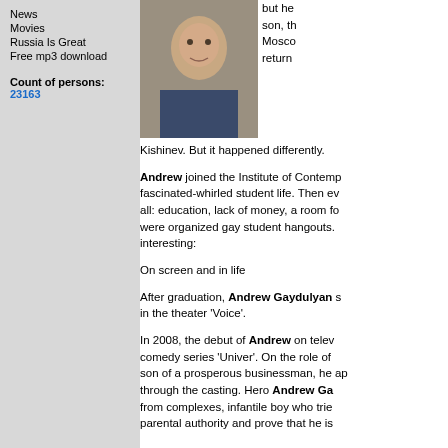News
Movies
Russia Is Great
Free mp3 download
Count of persons: 23163
[Figure (photo): Portrait photo of Andrew Gaydulyan, a young man]
but he... son, th... Mosco... return... Kishinev. But it happened differently.
Andrew joined the Institute of Contemp... fascinated-whirled student life. Then ev... all: education, lack of money, a room fo... were organized gay student hangouts.... interesting:
On screen and in life
After graduation, Andrew Gaydulyan s... in the theater 'Voice'.
In 2008, the debut of Andrew on telev... comedy series 'Univer'. On the role of... son of a prosperous businessman, he ap... through the casting. Hero Andrew Ga... from complexes, infantile boy who trie... parental authority and prove that he is...